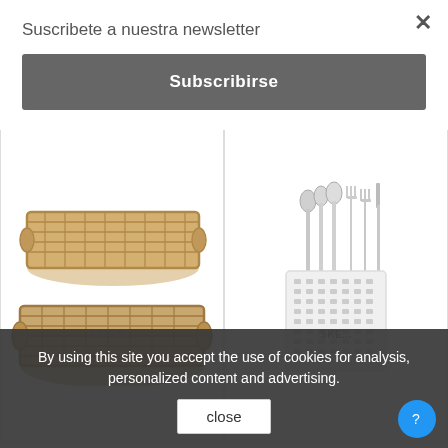Suscribete a nuestra newsletter
×
Subscribirse
[Figure (photo): Beige/tan plastic dishwasher glass rack with grid dividers, two stacked trays shown at an angle]
[Figure (photo): White plastic cutlery basket/holder with perforated sides, filled with stainless steel spoons, forks, and knives]
EXTEN...
SKE...
By using this site you accept the use of cookies for analysis, personalized content and advertising.
close